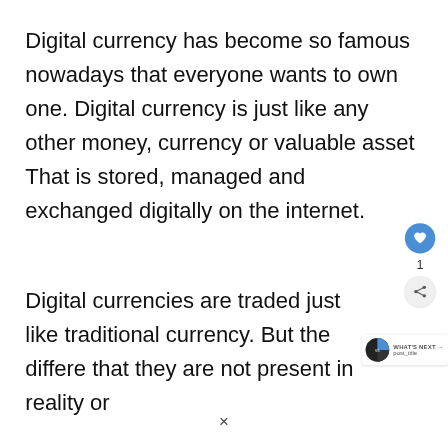Digital currency has become so famous nowadays that everyone wants to own one. Digital currency is just like any other money, currency or valuable asset That is stored, managed and exchanged digitally on the internet.
Digital currencies are traded just like traditional currency. But the differe[nce is] that they are not present in reality or
[Figure (other): UI overlay showing a blue heart/like button, like count of 1, and a share button]
[Figure (pie-chart): Small pie chart thumbnail in a 'WHAT'S NEXT' widget with post_title label]